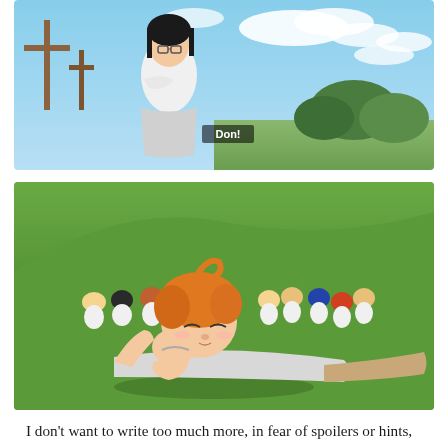[Figure (illustration): Anime screenshot from The Promised Neverland showing a woman with dark hair and glasses wearing a white outfit, standing with arms crossed outdoors. Wooden crosses visible in background. Blue sky with clouds. Subtitle text 'Don!' appears in lower center of image.]
[Figure (illustration): Anime screenshot from The Promised Neverland showing an orange-haired child lying on green grass in foreground, wearing white clothes. Multiple other children in white clothes are sitting in a group in the background on a green hillside.]
I don’t want to write too much more, in fear of spoilers or hints, in case anyone is planning on watching The